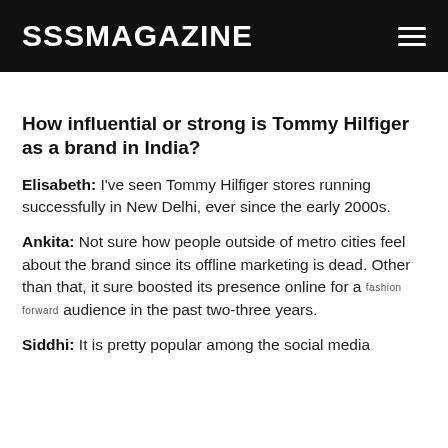SSSMAGAZINE
How influential or strong is Tommy Hilfiger as a brand in India?
Elisabeth: I've seen Tommy Hilfiger stores running successfully in New Delhi, ever since the early 2000s.
Ankita: Not sure how people outside of metro cities feel about the brand since its offline marketing is dead. Other than that, it sure boosted its presence online for a fashion forward audience in the past two-three years.
Siddhi: It is pretty popular among the social media